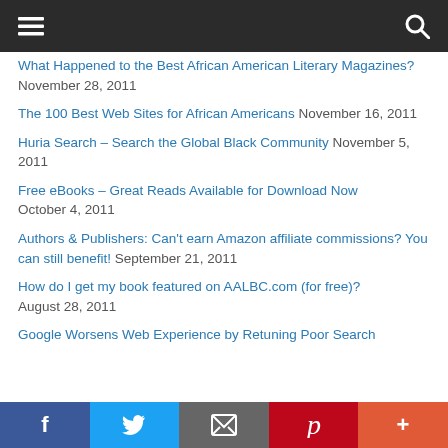Navigation bar with hamburger menu and search icon
What Happened to the Best African American Literary Magazines? November 28, 2011
The 100 Best Web Sites for African Americans November 16, 2011
Huria Search – Search the Global Black Community November 5, 2011
Free eBooks – Great Reads Available for Download Now October 4, 2011
Authors & Publishers: Can't earn Amazon affiliate commissions? You can still benefit! September 21, 2011
How do I get my book featured on AALBC.com (for free)? August 28, 2011
Google Worsens Web Experience by Retuning Poor Search
Social share bar: Facebook, Twitter, Email, Pinterest, More